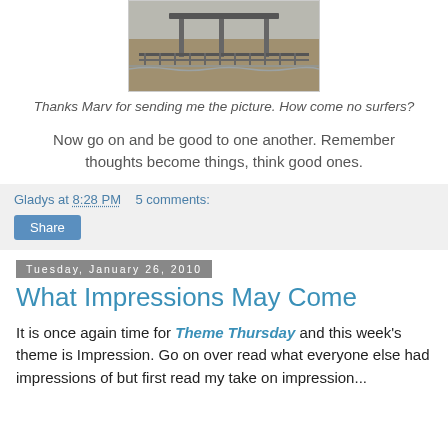[Figure (photo): Photograph of a beach scene with a covered structure/pavilion, railing, and wet sandy area, overcast weather]
Thanks Marv for sending me the picture.  How come no surfers?
Now go on and be good to one another.  Remember thoughts become things, think good ones.
Gladys at 8:28 PM    5 comments:
Share
Tuesday, January 26, 2010
What Impressions May Come
It is once again time for Theme Thursday and this week's theme is Impression.  Go on over read what everyone else had impressions of but first read my take on impression...